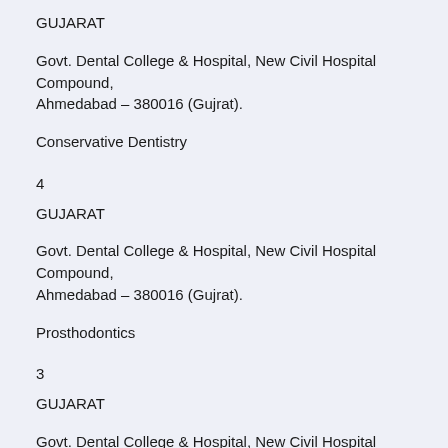GUJARAT
Govt. Dental College & Hospital, New Civil Hospital Compound, Ahmedabad – 380016 (Gujrat).
Conservative Dentistry
4
GUJARAT
Govt. Dental College & Hospital, New Civil Hospital Compound, Ahmedabad – 380016 (Gujrat).
Prosthodontics
3
GUJARAT
Govt. Dental College & Hospital, New Civil Hospital Compound, Ahmedabad – 380016 (Gujrat).